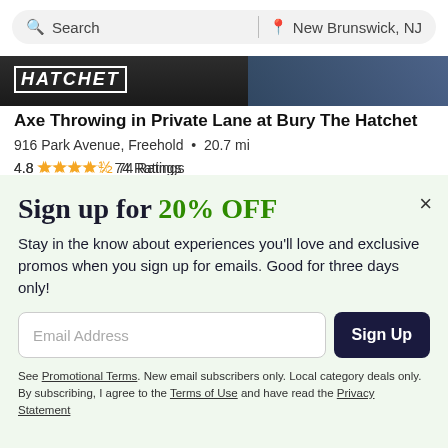[Figure (screenshot): Search bar with 'Search' on left and 'New Brunswick, NJ' location on right]
[Figure (photo): Dark cropped image showing the Hatchet logo/branding]
Axe Throwing in Private Lane at Bury The Hatchet
916 Park Avenue, Freehold • 20.7 mi
4.8 ★★★★½ 74 Ratings
Sign up for 20% OFF
Stay in the know about experiences you'll love and exclusive promos when you sign up for emails. Good for three days only!
Email Address
Sign Up
See Promotional Terms. New email subscribers only. Local category deals only. By subscribing, I agree to the Terms of Use and have read the Privacy Statement